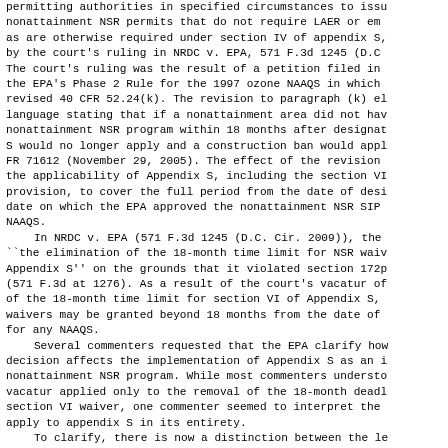permitting authorities in specified circumstances to issue nonattainment NSR permits that do not require LAER or em as are otherwise required under section IV of appendix S, by the court's ruling in NRDC v. EPA, 571 F.3d 1245 (D.C The court's ruling was the result of a petition filed in the EPA's Phase 2 Rule for the 1997 ozone NAAQS in which revised 40 CFR 52.24(k). The revision to paragraph (k) e language stating that if a nonattainment area did not hav nonattainment NSR program within 18 months after designat S would no longer apply and a construction ban would appl FR 71612 (November 29, 2005). The effect of the revision the applicability of Appendix S, including the section VI provision, to cover the full period from the date of des date on which the EPA approved the nonattainment NSR SIP NAAQS.
    In NRDC v. EPA (571 F.3d 1245 (D.C. Cir. 2009)), the ``the elimination of the 18-month time limit for NSR waiv Appendix S'' on the grounds that it violated section 172 (571 F.3d at 1276). As a result of the court's vacatur o of the 18-month time limit for section VI of Appendix S, waivers may be granted beyond 18 months from the date of for any NAAQS.
    Several commenters requested that the EPA clarify how decision affects the implementation of Appendix S as an nonattainment NSR program. While most commenters understo vacatur applied only to the removal of the 18-month dead section VI waiver, one commenter seemed to interpret the apply to appendix S in its entirety.
    To clarify, there is now a distinction between the le during which waivers may be granted under section VI of A